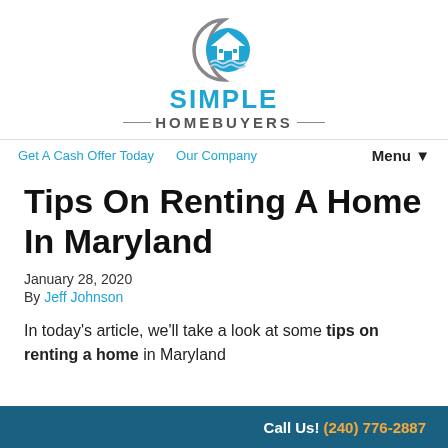[Figure (logo): Simple Homebuyers logo with house icon and crescent moon graphic, blue and gray color scheme]
Get A Cash Offer Today   Our Company   Menu ▼
Tips On Renting A Home In Maryland
January 28, 2020
By Jeff Johnson
In today's article, we'll take a look at some tips on renting a home in Maryland
Call Us! (240) 776-2887